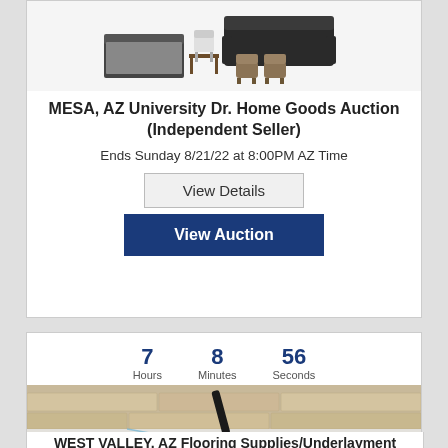[Figure (photo): Furniture items including beds, sofas, chairs, and tables shown as product images]
MESA, AZ University Dr. Home Goods Auction (Independent Seller)
Ends Sunday 8/21/22 at 8:00PM AZ Time
View Details
View Auction
7 Hours  8 Minutes  56 Seconds
[Figure (photo): Flooring supplies and underlayment materials photo]
WEST VALLEY, AZ Flooring Supplies/Underlayment Auction